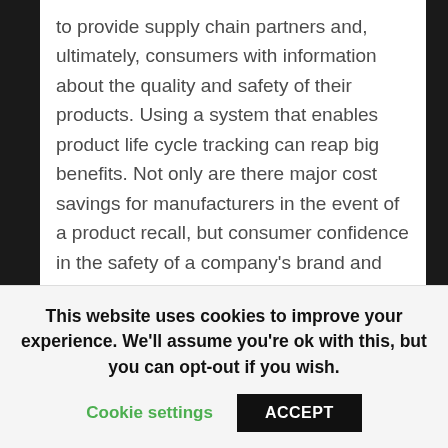to provide supply chain partners and, ultimately, consumers with information about the quality and safety of their products. Using a system that enables product life cycle tracking can reap big benefits. Not only are there major cost savings for manufacturers in the event of a product recall, but consumer confidence in the safety of a company's brand and products can be strengthened.
The UK's Foods Standards Agency reinforces the importance of traceability. Its report, Traceability in the Food Chain, in March 2003 stated that "having a robust system in the food chain that allows food,
This website uses cookies to improve your experience. We'll assume you're ok with this, but you can opt-out if you wish.
Cookie settings   ACCEPT